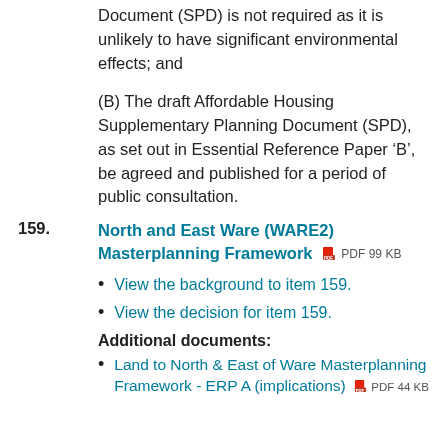Document (SPD) is not required as it is unlikely to have significant environmental effects; and
(B) The draft Affordable Housing Supplementary Planning Document (SPD), as set out in Essential Reference Paper ‘B’, be agreed and published for a period of public consultation.
159. North and East Ware (WARE2) Masterplanning Framework PDF 99 KB
View the background to item 159.
View the decision for item 159.
Additional documents:
Land to North & East of Ware Masterplanning Framework - ERP A (implications) PDF 44 KB